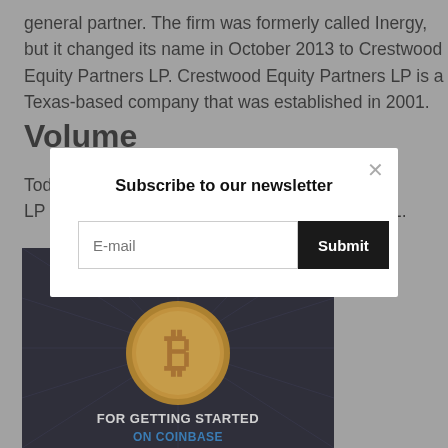general partner. The firm was formerly called Inergy, but it changed its name in October 2013 to Crestwood Equity Partners LP. Crestwood Equity Partners LP is a Texas-based company that was established in 2001.
Volume
Today ... Crestwood Equity Partners LP is ... 761.
[Figure (photo): Bitcoin advertisement image on dark background showing a gold Bitcoin coin with text 'EARN $5 IN BITCOIN FOR GETTING STARTED ON...']
Subscribe to our newsletter
E-mail